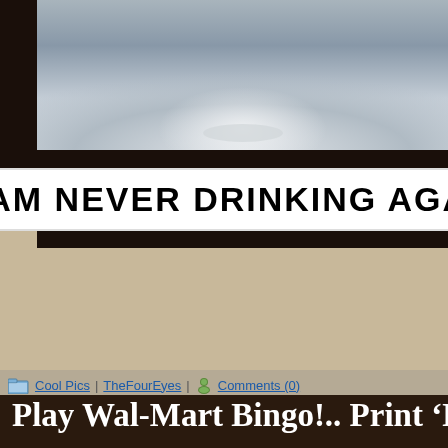[Figure (photo): Close-up photo of a cat's face (grey fur), cropped to show mainly the nose and cheek area, displayed on a dark background]
[Figure (photo): Meme caption on white background reading 'I AM NEVER DRINKING AGAIN!' in bold Impact font]
Cool Pics | TheFourEyes | Comments (0)
Play Wal-Mart Bingo!.. Print 'Em 'Em In Your Car!
Click to enlarge...
[Figure (photo): Wal-Mart Bingo card image showing WAL*MART logo in blue and BINGO letters in decorative blue typeface]